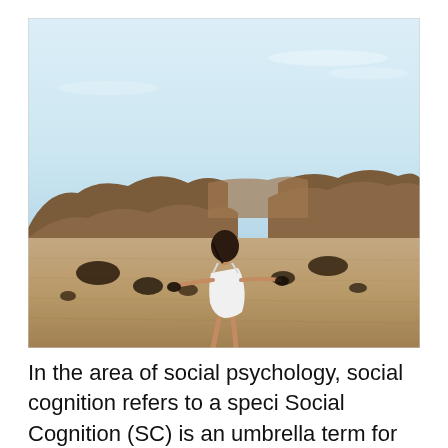[Figure (photo): A young woman in a white dress standing in a desert landscape with rocky hills in the background, photographed from behind with arms slightly outstretched. The sky is pale blue and the ground is sandy brown.]
In the area of social psychology, social cognition refers to a speci Social Cognition (SC) is an umbrella term for cognitive and emotional processes and abilities involved in effective